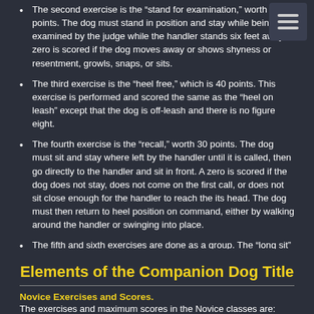The second exercise is the “stand for examination,” worth 30 points. The dog must stand in position and stay while being examined by the judge while the handler stands six feet away. A zero is scored if the dog moves away or shows shyness or resentment, growls, snaps, or sits.
The third exercise is the “heel free,” which is 40 points. This exercise is performed and scored the same as the “heel on leash” except that the dog is off-leash and there is no figure eight.
The fourth exercise is the “recall,” worth 30 points. The dog must sit and stay where left by the handler until it is called, then go directly to the handler and sit in front. A zero is scored if the dog does not stay, does not come on the first call, or does not sit close enough for the handler to reach the its head. The dog must then return to heel position on command, either by walking around the handler or swinging into place.
The fifth and sixth exercises are done as a group. The “long sit” is for one minute; the “long down” for three minutes, both done off-leash with the handler standing across the ring. A zero is scored if the dog moves away from its place, visits another dog, or repeatedly barks or whines
Elements of the Companion Dog Title
Novice Exercises and Scores.
The exercises and maximum scores in the Novice classes are: